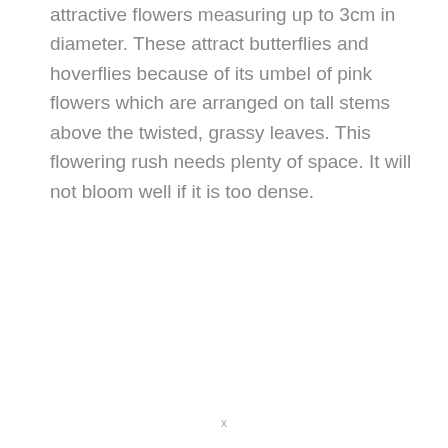attractive flowers measuring up to 3cm in diameter. These attract butterflies and hoverflies because of its umbel of pink flowers which are arranged on tall stems above the twisted, grassy leaves. This flowering rush needs plenty of space. It will not bloom well if it is too dense.
x